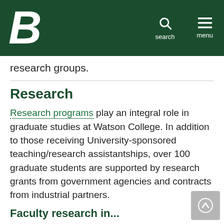Binghamton University - Watson College
research groups.
Research
Research programs play an integral role in graduate studies at Watson College. In addition to those receiving University-sponsored teaching/research assistantships, over 100 graduate students are supported by research grants from government agencies and contracts from industrial partners.
Faculty research in...
Applied nanomaterials
Bio-MEMS/NEMS